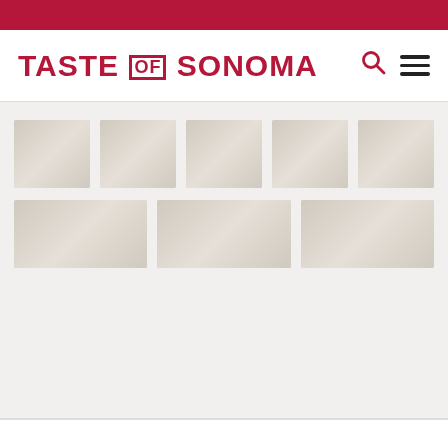[Figure (logo): Taste of Sonoma logo in dark red/crimson with OF in a box]
[Figure (photo): Gallery of 8 thumbnail images arranged in two rows on a light beige background]
SIGN UP FOR SONOMA COUNTY VINTNERS NEWS
Receive news and community updates from Sonoma